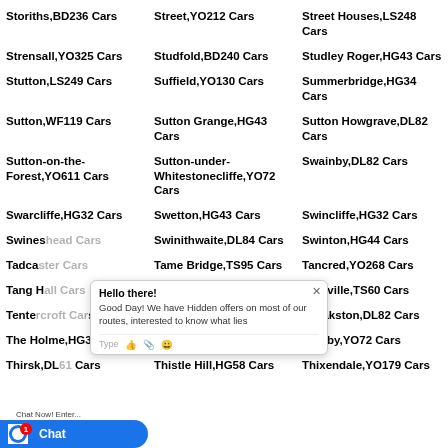Storiths,BD236 Cars
Street,YO212 Cars
Street Houses,LS248 Cars
Strensall,YO325 Cars
Studfold,BD240 Cars
Studley Roger,HG43 Cars
Stutton,LS249 Cars
Suffield,YO130 Cars
Summerbridge,HG34 Cars
Sutton,WF119 Cars
Sutton Grange,HG43 Cars
Sutton Howgrave,DL82 Cars
Sutton-on-the-Forest,YO611 Cars
Sutton-under-Whitestonecliffe,YO72 Cars
Swainby,DL82 Cars
Swarcliffe,HG32 Cars
Swetton,HG43 Cars
Swincliffe,HG32 Cars
Swineshead Cars
Swinithwaite,DL84 Cars
Swinton,HG44 Cars
Tadcaster Cars
Tame Bridge,TS95 Cars
Tancred,YO268 Cars
Tang Hall Cars
Tanton,TS95 Cars
Teesville,TS60 Cars
Tentercroft Cars
Terrington,YO606 Cars
Theakston,DL82 Cars
The Holme,HG32 Cars
Thimbleby,DL63 Cars
Thirlby,YO72 Cars
Thirsk,DL61 Cars
Thistle Hill,HG58 Cars
Thixendale,YO179 Cars